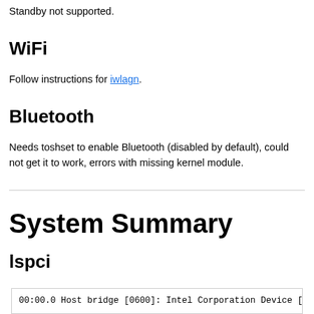Standby not supported.
WiFi
Follow instructions for iwlagn.
Bluetooth
Needs toshset to enable Bluetooth (disabled by default), could not get it to work, errors with missing kernel module.
System Summary
lspci
00:00.0 Host bridge [0600]: Intel Corporation Device [808